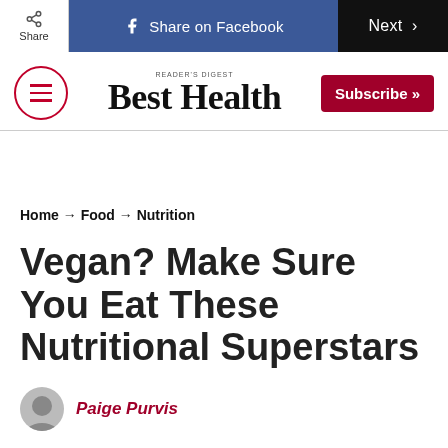Share  Share on Facebook  Next >
[Figure (logo): Best Health magazine logo with hamburger menu and Subscribe button]
Home → Food → Nutrition
Vegan? Make Sure You Eat These Nutritional Superstars
Paige Purvis